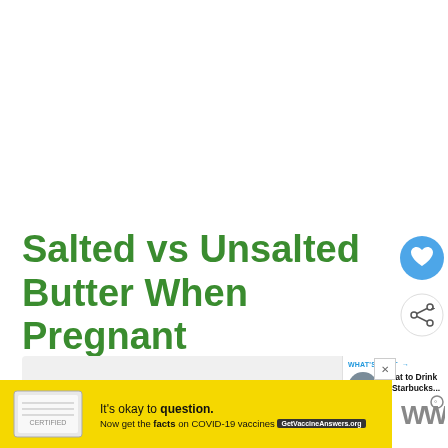Salted vs Unsalted Butter When Pregnant
[Figure (screenshot): What's Next panel with thumbnail image of a drink, text 'WHAT'S NEXT → What to Drink at Starbucks...']
[Figure (screenshot): Yellow advertisement banner: 'It's okay to question. Now get the facts on COVID-19 vaccines GetVaccineAnswers.org' with a close button and WW logo]
[Figure (other): Heart/like button (blue circle with white heart icon) and share button (white circle with share icon)]